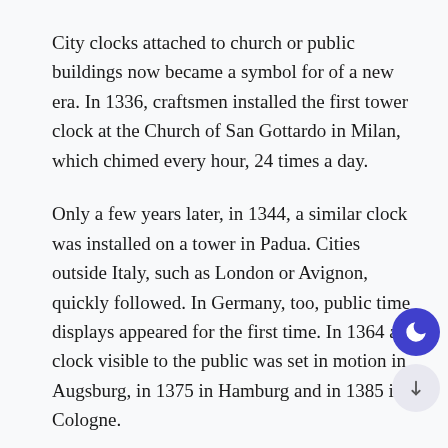City clocks attached to church or public buildings now became a symbol for of a new era. In 1336, craftsmen installed the first tower clock at the Church of San Gottardo in Milan, which chimed every hour, 24 times a day.
Only a few years later, in 1344, a similar clock was installed on a tower in Padua. Cities outside Italy, such as London or Avignon, quickly followed. In Germany, too, public time displays appeared for the first time. In 1364 a clock visible to the public was set in motion in Augsburg, in 1375 in Hamburg and in 1385 in Cologne.
Such timepieces stood for something radically mode in human thought: time became independent of both natural phenomena and the perception of the individual, time could now be measured objectively